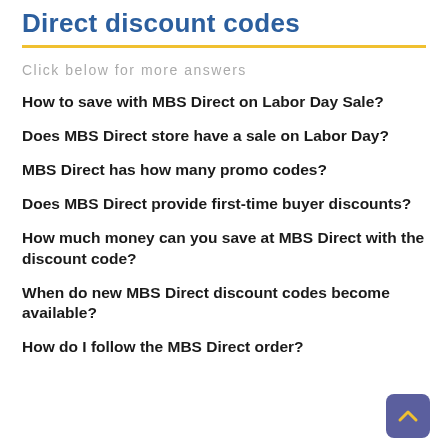Direct discount codes
Click below for more answers
How to save with MBS Direct on Labor Day Sale?
Does MBS Direct store have a sale on Labor Day?
MBS Direct has how many promo codes?
Does MBS Direct provide first-time buyer discounts?
How much money can you save at MBS Direct with the discount code?
When do new MBS Direct discount codes become available?
How do I follow the MBS Direct order?